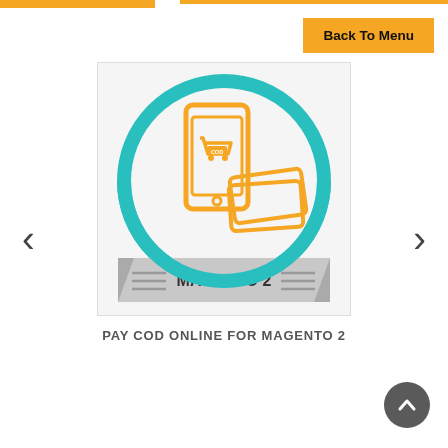[Figure (illustration): Orange top navigation bar decoration]
Back To Menu
‹
[Figure (logo): Pay COD Online for Magento 2 product logo: teal circle with orange smartphone showing shopping cart with COD label, and orange credit cards, with a grey ribbon banner at bottom reading MAGENTO 2]
›
PAY COD ONLINE FOR MAGENTO 2